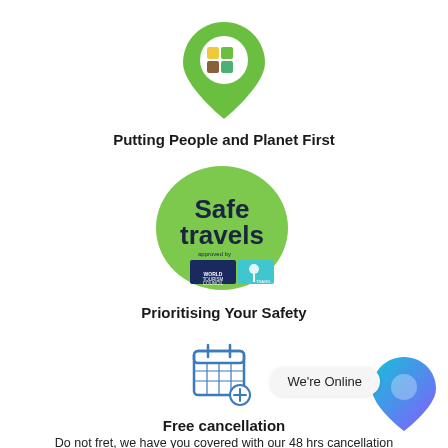[Figure (logo): Green map pin logo with colorful grid squares inside — Travel Curious brand logo]
Putting People and Planet First
[Figure (logo): Safe Travels badge — green circle with 'Safe travels' text and World Tourism Council / Travel Curious logos]
Prioritising Your Safety
[Figure (illustration): Calendar icon with a plus sign — representing free cancellation feature]
Free cancellation
Do not fret, we have you covered with our 48 hrs cancellation
[Figure (logo): Travel Curious blue/purple map pin logo, bottom right corner]
We're Online